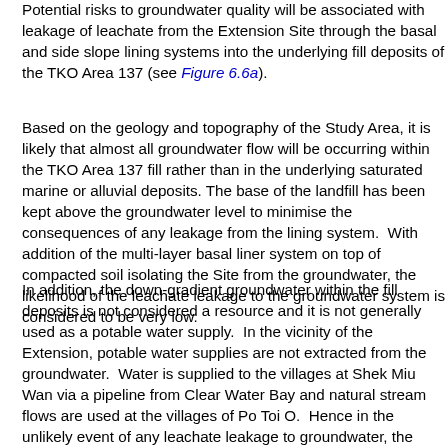Potential risks to groundwater quality will be associated with leakage of leachate from the Extension Site through the basal and side slope lining systems into the underlying fill deposits of the TKO Area 137 (see Figure 6.6a).
Based on the geology and topography of the Study Area, it is likely that almost all groundwater flow will be occurring within the TKO Area 137 fill rather than in the underlying saturated marine or alluvial deposits. The base of the landfill has been kept above the groundwater level to minimise the consequences of any leakage from the lining system. With addition of the multi-layer basal liner system on top of compacted soil isolating the Site from the groundwater, the likelihood of the leachate leakage to the groundwater system is considered to be very low.
In addition, the down-gradient groundwater within the fill deposits is not considered a resource and it is not generally used as a potable water supply. In the vicinity of the Extension, potable water supplies are not extracted from the groundwater. Water is supplied to the villages at Shek Miu Wan via a pipeline from Clear Water Bay and natural stream flows are used at the villages of Po Toi O. Hence in the unlikely event of any leachate leakage to groundwater, the severity of such impacts is considered to be very low.